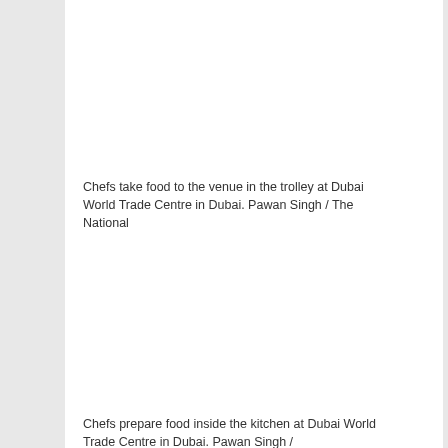Chefs take food to the venue in the trolley at Dubai World Trade Centre in Dubai. Pawan Singh / The National
Chefs prepare food inside the kitchen at Dubai World Trade Centre in Dubai. Pawan Singh / The National